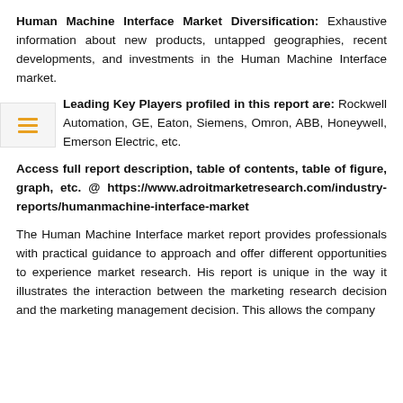Human Machine Interface Market Diversification: Exhaustive information about new products, untapped geographies, recent developments, and investments in the Human Machine Interface market.
Leading Key Players profiled in this report are: Rockwell Automation, GE, Eaton, Siemens, Omron, ABB, Honeywell, Emerson Electric, etc.
Access full report description, table of contents, table of figure, graph, etc. @ https://www.adroitmarketresearch.com/industry-reports/humanmachine-interface-market
The Human Machine Interface market report provides professionals with practical guidance to approach and offer different opportunities to experience market research. His report is unique in the way it illustrates the interaction between the marketing research decision and the marketing management decision. This allows the company to...